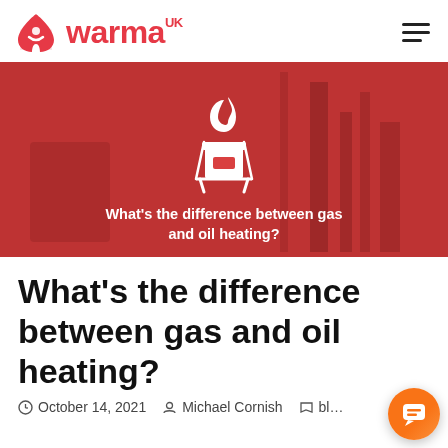warma UK
[Figure (illustration): Red banner image with a gas/oil heating icon (stove burner with flame) and the text "What's the difference between gas and oil heating?" overlaid in white on a red-tinted industrial background.]
What's the difference between gas and oil heating?
October 14, 2021   Michael Cornish   bl…